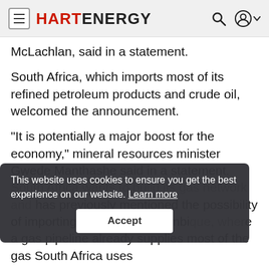HART ENERGY
McLachlan, said in a statement.
South Africa, which imports most of its refined petroleum products and crude oil, welcomed the announcement.
“It is potentially a major boost for the economy,” mineral resources minister Gwede Manthashe said in a statement.
South Africa wants to build its gas network and has previously mentioned the possibility of importing LNG from Mozambique, where a gas pipeline already supplies most of the gas South Africa uses
This website uses cookies to ensure you get the best experience on our website. Learn more
Accept